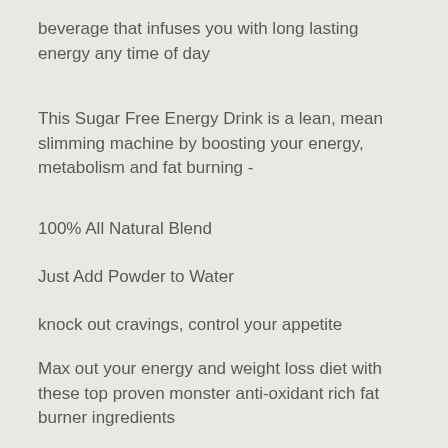beverage that infuses you with long lasting energy any time of day
This Sugar Free Energy Drink is a lean, mean slimming machine by boosting your energy, metabolism and fat burning -
100% All Natural Blend
Just Add Powder to Water
knock out cravings, control your appetite
Max out your energy and weight loss diet with these top proven monster anti-oxidant rich fat burner ingredients
No more taking a hand full of pills
EXPERIENCE MORE ENERGY - Packed with